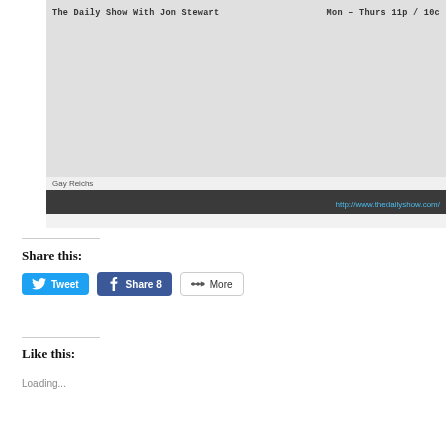[Figure (screenshot): Video embed of The Daily Show With Jon Stewart. Gray placeholder area with show title on top left and schedule 'Mon – Thurs 11p / 10c' on top right. Bottom shows author 'Gay Reichs' and URL bar with 'http://www.thedailyshow.com/']
Share this:
Tweet   Share 8   More
Like this:
Loading...